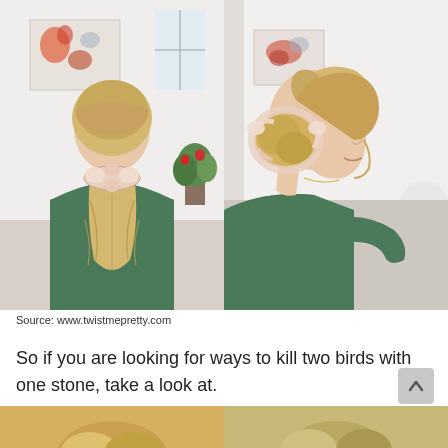[Figure (photo): Two side-by-side photos of a blonde woman wearing a green top with a floral scrunchie in her hair. Left photo shows the back view with a low ponytail; right photo shows a side profile view with an updo bun hairstyle.]
Source: www.twistmepretty.com
So if you are looking for ways to kill two birds with one stone, take a look at.
[Figure (photo): Partial bottom strip showing the beginning of another set of hair photos.]